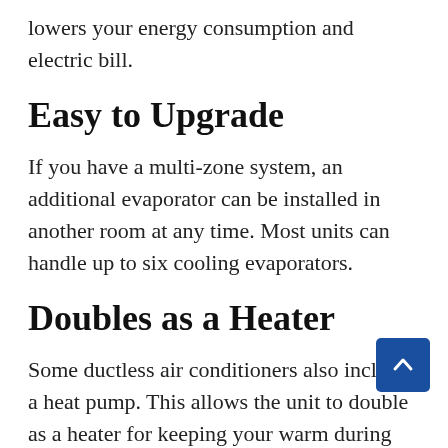lowers your energy consumption and electric bill.
Easy to Upgrade
If you have a multi-zone system, an additional evaporator can be installed in another room at any time. Most units can handle up to six cooling evaporators.
Doubles as a Heater
Some ductless air conditioners also include a heat pump. This allows the unit to double as a heater for keeping your warm during the winter.